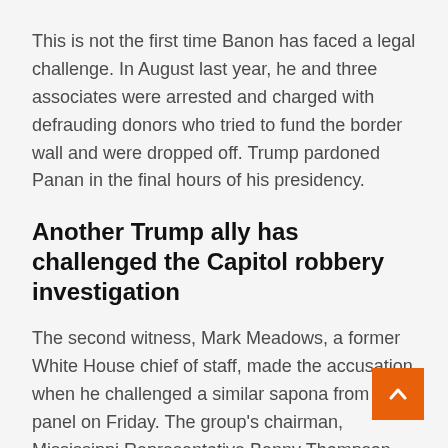This is not the first time Banon has faced a legal challenge. In August last year, he and three associates were arrested and charged with defrauding donors who tried to fund the border wall and were dropped off. Trump pardoned Panan in the final hours of his presidency.
Another Trump ally has challenged the Capitol robbery investigation
The second witness, Mark Meadows, a former White House chief of staff, made the accusation when he challenged a similar sapona from the panel on Friday. The group's chairman, Mississippi Representative Benny Thompson, said he would recommend contempt charges against Meadows next week.